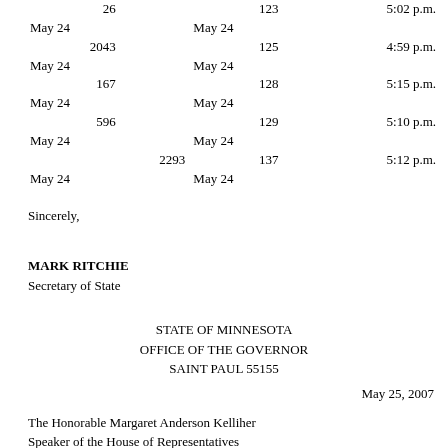| 26 |  | 123 |  | 5:02 p.m. |
| May 24 |  | May 24 |  |  |
| 2043 |  | 125 |  | 4:59 p.m. |
| May 24 |  | May 24 |  |  |
| 167 |  | 128 |  | 5:15 p.m. |
| May 24 |  | May 24 |  |  |
| 596 |  | 129 |  | 5:10 p.m. |
| May 24 |  | May 24 |  |  |
|  | 2293 | 137 |  | 5:12 p.m. |
| May 24 |  | May 24 |  |  |
Sincerely,
MARK RITCHIE
Secretary of State
STATE OF MINNESOTA
OFFICE OF THE GOVERNOR
SAINT PAUL 55155
May 25, 2007
The Honorable Margaret Anderson Kelliher
Speaker of the House of Representatives